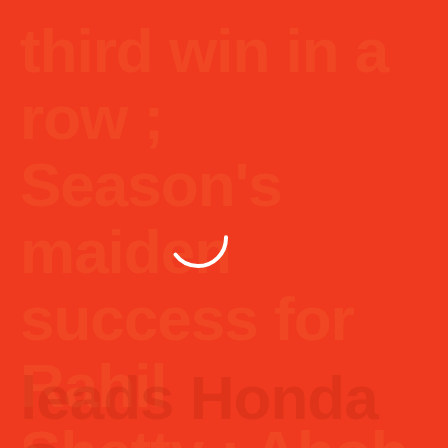third win in a row ; Season's maiden success for Rahil Shetty ; Ahoh Shety leads Honda sweep
8
[Figure (other): Loading spinner — white arc circle on red background, indicating a loading state]
leads Honda sweep
leads Honda sweep